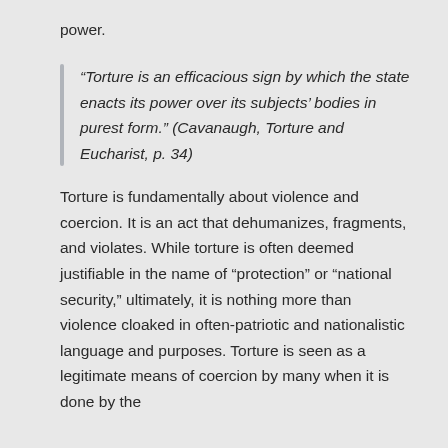power.
“Torture is an efficacious sign by which the state enacts its power over its subjects’ bodies in purest form.” (Cavanaugh, Torture and Eucharist, p. 34)
Torture is fundamentally about violence and coercion. It is an act that dehumanizes, fragments, and violates. While torture is often deemed justifiable in the name of “protection” or “national security,” ultimately, it is nothing more than violence cloaked in often-patriotic and nationalistic language and purposes. Torture is seen as a legitimate means of coercion by many when it is done by the